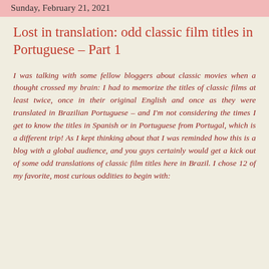Sunday, February 21, 2021
Lost in translation: odd classic film titles in Portuguese – Part 1
I was talking with some fellow bloggers about classic movies when a thought crossed my brain: I had to memorize the titles of classic films at least twice, once in their original English and once as they were translated in Brazilian Portuguese – and I'm not considering the times I get to know the titles in Spanish or in Portuguese from Portugal, which is a different trip! As I kept thinking about that I was reminded how this is a blog with a global audience, and you guys certainly would get a kick out of some odd translations of classic film titles here in Brazil. I chose 12 of my favorite, most curious oddities to begin with: